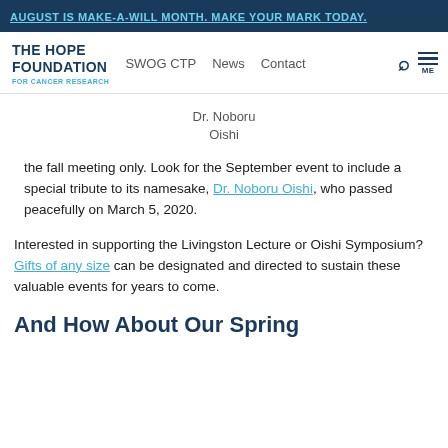AUGUST IS MAKE-A-WILL MONTH. MAKE YOUR MARK TODAY.
[Figure (logo): The Hope Foundation for Cancer Research logo with navigation links: SWOG CTP, News, Contact, search icon, and menu]
Dr. Noboru Oishi
the fall meeting only. Look for the September event to include a special tribute to its namesake, Dr. Noboru Oishi, who passed peacefully on March 5, 2020.
Interested in supporting the Livingston Lecture or Oishi Symposium? Gifts of any size can be designated and directed to sustain these valuable events for years to come.
And How About Our Spring